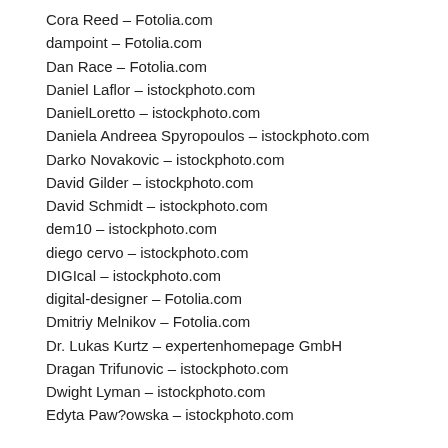Cora Reed – Fotolia.com
dampoint – Fotolia.com
Dan Race – Fotolia.com
Daniel Laflor – istockphoto.com
DanielLoretto – istockphoto.com
Daniela Andreea Spyropoulos – istockphoto.com
Darko Novakovic – istockphoto.com
David Gilder – istockphoto.com
David Schmidt – istockphoto.com
dem10 – istockphoto.com
diego cervo – istockphoto.com
DIGIcal – istockphoto.com
digital-designer – Fotolia.com
Dmitriy Melnikov – Fotolia.com
Dr. Lukas Kurtz – expertenhomepage GmbH
Dragan Trifunovic – istockphoto.com
Dwight Lyman – istockphoto.com
Edyta Paw?owska – istockphoto.com